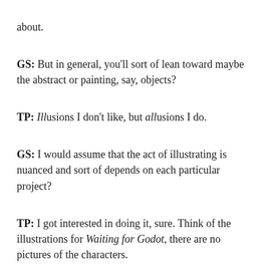about.
GS: But in general, you'll sort of lean toward maybe the abstract or painting, say, objects?
TP: Illusions I don't like, but allusions I do.
GS: I would assume that the act of illustrating is nuanced and sort of depends on each particular project?
TP: I got interested in doing it, sure. Think of the illustrations for Waiting for Godot, there are no pictures of the characters.
GS: Even
[Figure (illustration): A decorative illustration showing stylized figures or creatures rendered in a textured, cross-hatched mosaic style with muted brown, grey and beige tones, framed within a rectangular border with a fuzzy/feathery edge.]